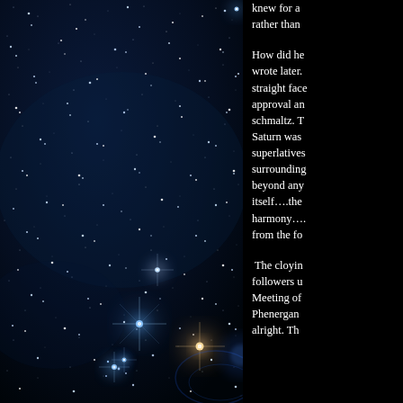[Figure (photo): Night sky photograph showing a dark blue-black starfield with numerous bright stars, some with lens flare effects creating blue cross-star patterns. Several particularly bright blue-white stars are visible, with the brightest ones producing prominent starburst/lens flare effects.]
knew for a rather than
How did he wrote later. straight face approval an schmaltz. T Saturn was superlatives surrounding beyond any itself….the harmony…. from the fo
The cloyin followers u Meeting of Phenergan alright. Th